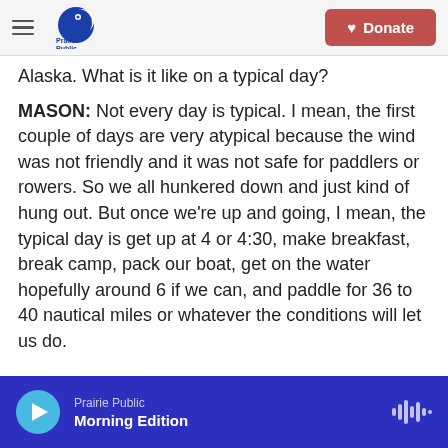Prairie Public | Donate
Alaska. What is it like on a typical day?
MASON: Not every day is typical. I mean, the first couple of days are very atypical because the wind was not friendly and it was not safe for paddlers or rowers. So we all hunkered down and just kind of hung out. But once we're up and going, I mean, the typical day is get up at 4 or 4:30, make breakfast, break camp, pack our boat, get on the water hopefully around 6 if we can, and paddle for 36 to 40 nautical miles or whatever the conditions will let us do.
Prairie Public Morning Edition